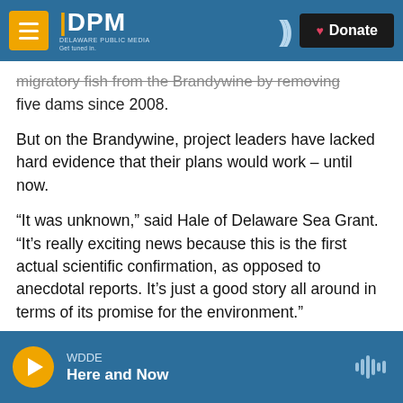DPM Delaware Public Media - Get tuned in. | Donate
migratory fish from the Brandywine by removing five dams since 2008.
But on the Brandywine, project leaders have lacked hard evidence that their plans would work – until now.
“It was unknown,” said Hale of Delaware Sea Grant. “It’s really exciting news because this is the first actual scientific confirmation, as opposed to anecdotal reports. It’s just a good story all around in terms of its promise for the environment.”
WDDE | Here and Now